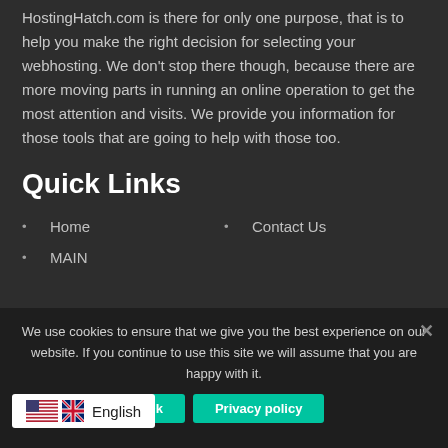HostingHatch.com is there for only one purpose, that is to help you make the right decision for selecting your webhosting. We don't stop there though, because there are more moving parts in running an online operation to get the most attention and visits. We provide you information for those tools that are going to help with those too.
Quick Links
Home
Contact Us
MAIN
We use cookies to ensure that we give you the best experience on our website. If you continue to use this site we will assume that you are happy with it.